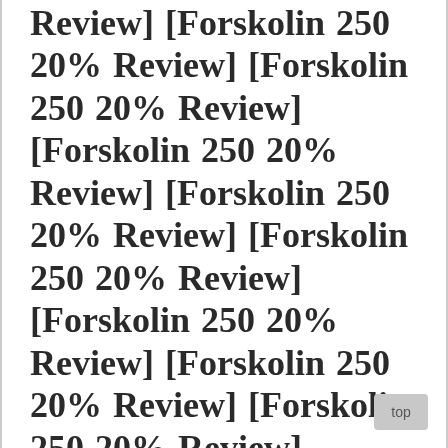[Forskolin 250 20% Review] [Forskolin 250 20% Review] [Forskolin 250 20% Review] [Forskolin 250 20% Review] [Forskolin 250 20% Review] [Forskolin 250 20% Review] [Forskolin 250 20% Review] [Forskolin 250 20% Review] [Forskolin 250 20% Review] [Forskolin 250 20% Review] [Forskolin 250 20% Review] [Forskolin 250 20% Review...